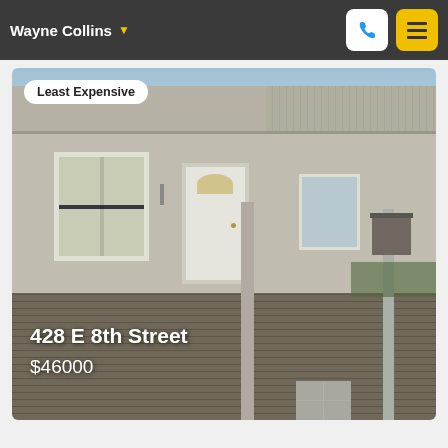Wayne Collins
[Figure (photo): Exterior photo of a single-story house with a covered front porch, gray wood deck, white front door with arched window, white-framed windows, and a small shed visible in the background. Badge reads 'Least Expensive'.]
428 E 8th Street
$46000